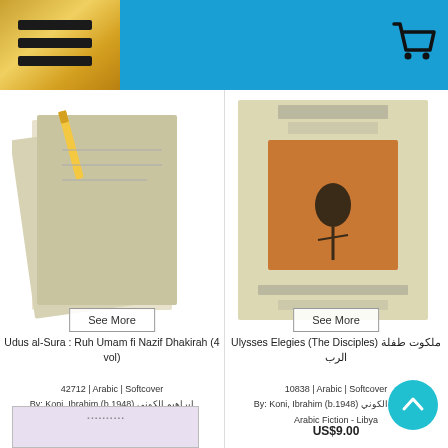[Figure (screenshot): Website header with blue background, golden/yellow hamburger menu on left, shopping cart icon on right]
[Figure (photo): Book cover image for Udus al-Sura: Ruh Umam fi Nazif Dhakirah (4 vol)]
See More
Udus al-Sura : Ruh Umam fi Nazif Dhakirah (4 vol)
42712 | Arabic | Softcover
By: Koni, Ibrahim (b.1948) ابراهيم الكوني
Arabic Memoirs - Autobiography - Libya
US$68.00
[Figure (photo): Book cover image for Ulysses Elegies (The Disciples) ملكوت طفلة الرب]
See More
Ulysses Elegies (The Disciples) ملكوت طفلة الرب
10838 | Arabic | Softcover
By: Koni, Ibrahim (b.1948) ابراهيم الكوني
Arabic Fiction - Libya
US$9.00
[Figure (photo): Partial book cover visible at bottom left of page]
[Figure (photo): Partial book cover visible at bottom right of page (blank/not loaded)]